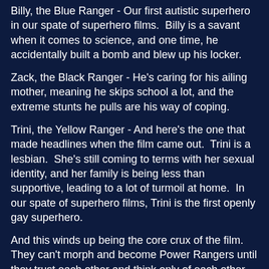Billy, the Blue Ranger - Our first autistic superhero in our spate of superhero films.  Billy is a savant when it comes to science, and one time, he accidentally built a bomb and blew up his locker.
Zack, the Black Ranger - He's caring for his ailing mother, meaning he skips school a lot, and the extreme stunts he pulls are his way of coping.
Trini, the Yellow Ranger - And here's the one that made headlines when the film came out.  Trini is a lesbian.  She's still coming to terms with her sexual identity, and her family is being less than supportive, leading to a lot of turmoil at home.  In our spate of superhero films, Trini is the first openly gay superhero.
And this winds up being the core crux of the film.  They can't morph and become Power Rangers until they trust each other and think only of each other, and despite all the awesome martial arts training, they don't really start doing that until they let their guard down and start telling each other about their issues.